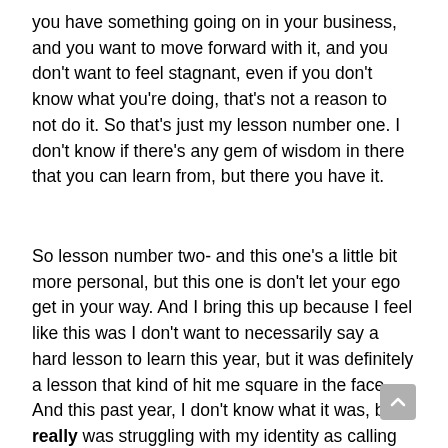you have something going on in your business, and you want to move forward with it, and you don't want to feel stagnant, even if you don't know what you're doing, that's not a reason to not do it. So that's just my lesson number one. I don't know if there's any gem of wisdom in there that you can learn from, but there you have it.
So lesson number two- and this one's a little bit more personal, but this one is don't let your ego get in your way. And I bring this up because I feel like this was I don't want to necessarily say a hard lesson to learn this year, but it was definitely a lesson that kind of hit me square in the face. And this past year, I don't know what it was, but I really was struggling with my identity as calling myself an entrepreneur. And I feel like in some ways that had a big...